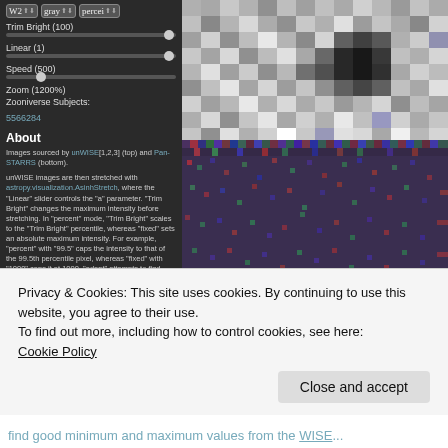[Figure (screenshot): A web application UI panel on dark background showing controls: W2/gray/percent dropdowns, Trim Bright (100) slider, Linear (1) slider, Speed (500) slider, Zoom (1200%) slider, Zooniverse Subjects: 5566284 link. An 'About' section with text about unWISE and Pan-STARRS images. On the right side: top panel shows a grayscale astronomical image with a dark spot, bottom panel shows a colorful noise (Pan-STARRS) astronomical image.]
Privacy & Cookies: This site uses cookies. By continuing to use this website, you agree to their use.
To find out more, including how to control cookies, see here:
Cookie Policy
Close and accept
find good minimum and maximum values from the WISE...